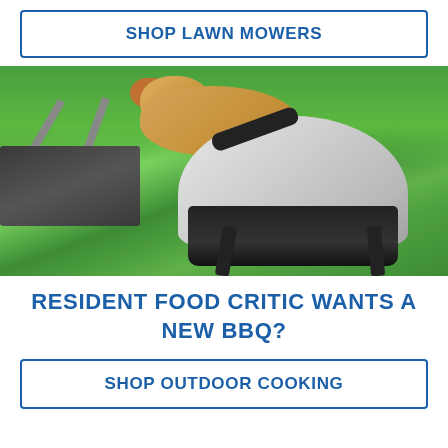SHOP LAWN MOWERS
[Figure (photo): Outdoor BBQ grill with silver lid and black base on green grass, with a golden retriever dog lying in the background]
RESIDENT FOOD CRITIC WANTS A NEW BBQ?
SHOP OUTDOOR COOKING